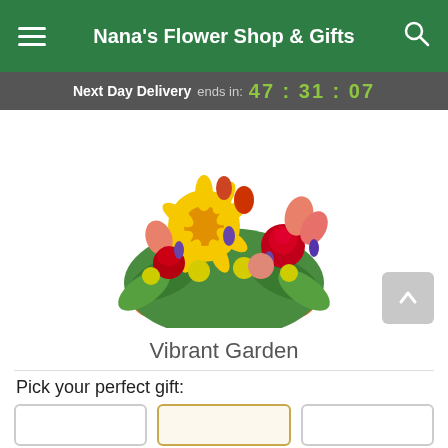Nana's Flower Shop & Gifts
Next Day Delivery ends in: 47 : 31 : 07
[Figure (photo): Colorful flower arrangement in an orange bowl with yellow gerbera daisies, red roses, pink alstroemeria, red carnations, yellow button poms, and purple statice with green foliage.]
Vibrant Garden
Pick your perfect gift: